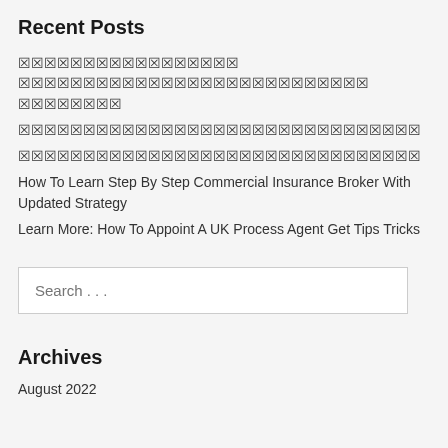Recent Posts
▨▨▨▨▨▨▨▨▨▨▨▨▨▨▨▨▨ ▨▨▨▨▨▨▨▨▨▨▨▨▨▨▨▨▨▨▨▨▨▨▨▨▨▨▨▨
▨▨▨▨▨▨▨▨▨▨▨▨▨▨▨▨▨▨▨▨▨▨▨▨▨▨▨▨▨
▨▨▨▨▨▨▨▨▨▨▨▨▨▨▨▨▨▨▨▨▨▨▨▨▨▨▨▨▨
How To Learn Step By Step Commercial Insurance Broker With Updated Strategy
Learn More: How To Appoint A UK Process Agent Get Tips Tricks
Archives
August 2022